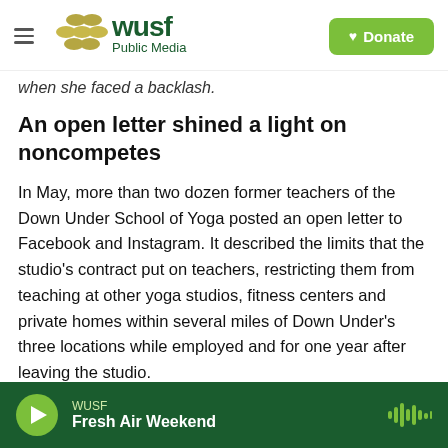WUSF Public Media | Donate
when she faced a backlash.
An open letter shined a light on noncompetes
In May, more than two dozen former teachers of the Down Under School of Yoga posted an open letter to Facebook and Instagram. It described the limits that the studio's contract put on teachers, restricting them from teaching at other yoga studios, fitness centers and private homes within several miles of Down Under's three locations while employed and for one year after leaving the studio.
WUSF | Fresh Air Weekend